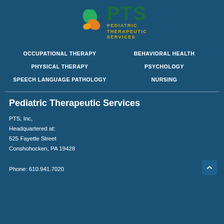[Figure (logo): PTS Pediatric Therapeutic Services logo with green/orange leaf graphic and gold text]
OCCUPATIONAL THERAPY
BEHAVIORAL HEALTH
PHYSICAL THERAPY
PSYCHOLOGY
SPEECH LANGUAGE PATHOLOGY
NURSING
Pediatric Therapeutic Services
PTS, Inc,
Headquartered at:
525 Fayette Street
Conshohocken, PA 19428

Phone: 610.941.7020